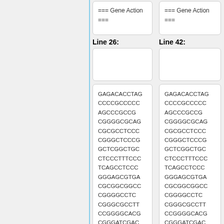=== Gene Action ===
=== Gene Action ===
Line 26:
Line 42:
GAGACACCTAG
CCCCGCCCCC
AGCCCGCCG
CGGGGCGCAG
CGCGCCTCCC
CGGGCTCCCG
GCTCGGCTGC
CTCCCTTTCCC
TCAGCCTCCC
GGGAGCGTGA
CGCGGCGGCC
CGGGGGCCTC
CGGGCGCCTT
CCGGGGCACG
CGGGATCGAC
GAGACACCTAG
CCCCGCCCCC
AGCCCGCCG
CGGGGCGCAG
CGCGCCTCCC
CGGGCTCCCG
GCTCGGCTGC
CTCCCTTTCCC
TCAGCCTCCC
GGGAGCGTGA
CGCGGCGGCC
CGGGGGCCTC
CGGGCGCCTT
CCGGGGCACG
CGGGATCGAC